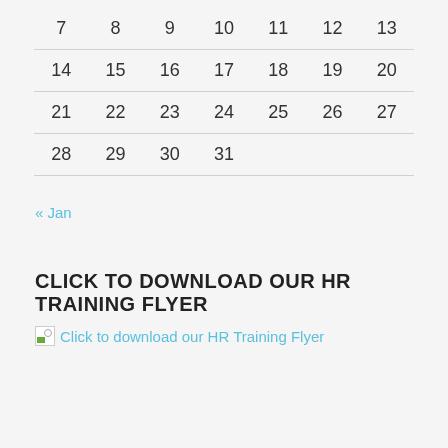| 7 | 8 | 9 | 10 | 11 | 12 | 13 |
| 14 | 15 | 16 | 17 | 18 | 19 | 20 |
| 21 | 22 | 23 | 24 | 25 | 26 | 27 |
| 28 | 29 | 30 | 31 |  |  |  |
« Jan
CLICK TO DOWNLOAD OUR HR TRAINING FLYER
[Figure (other): Broken image placeholder link labeled 'Click to download our HR Training Flyer']